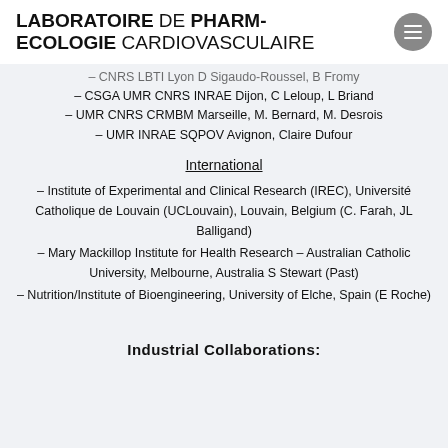LABORATOIRE DE PHARM-ECOLOGIE CARDIOVASCULAIRE
– CNRS LBTI Lyon D Sigaudo-Roussel, B Fromy
– CSGA UMR CNRS INRAE Dijon, C Leloup, L Briand
– UMR CNRS CRMBM Marseille, M. Bernard, M. Desrois
– UMR INRAE SQPOV Avignon, Claire Dufour
International
– Institute of Experimental and Clinical Research (IREC), Université Catholique de Louvain (UCLouvain), Louvain, Belgium (C. Farah, JL Balligand)
– Mary Mackillop Institute for Health Research – Australian Catholic University, Melbourne, Australia S Stewart (Past)
– Nutrition/Institute of Bioengineering, University of Elche, Spain (E Roche)
Industrial Collaborations: